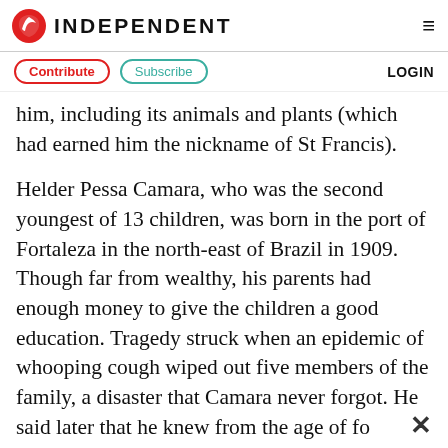INDEPENDENT
Contribute  Subscribe  LOGIN
him, including its animals and plants (which had earned him the nickname of St Francis).
Helder Pessa Camara, who was the second youngest of 13 children, was born in the port of Fortaleza in the north-east of Brazil in 1909. Though far from wealthy, his parents had enough money to give the children a good education. Tragedy struck when an epidemic of whooping cough wiped out five members of the family, a disaster that Camara never forgot. He said later that he knew from the age of fou